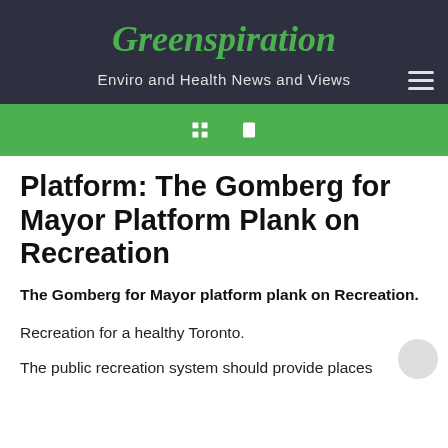Greenspiration
Enviro and Health News and Views
Platform: The Gomberg for Mayor Platform Plank on Recreation
The Gomberg for Mayor platform plank on Recreation.
Recreation for a healthy Toronto.
The public recreation system should provide places